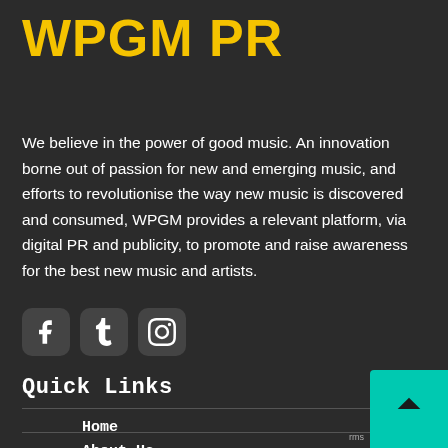WPGM PR
We believe in the power of good music. An innovation borne out of passion for new and emerging music, and efforts to revolutionise the way new music is discovered and consumed, WPGM provides a relevant platform, via digital PR and publicity, to promote and raise awareness for the best new music and artists.
[Figure (illustration): Three social media icons: Facebook, Tumblr, and Instagram, each in a rounded square box on dark background]
Quick Links
Home
About Us